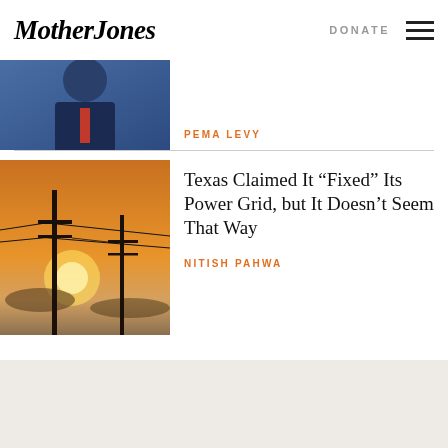Mother Jones | DONATE
PEMA LEVY
[Figure (photo): Partially visible photo of a person in a suit with a red tie against a blue background, cropped at the top]
Texas Claimed It “Fixed” Its Power Grid, but It Doesn’t Seem That Way
NITISH PAHWA
[Figure (photo): Photo of electrical power line poles silhouetted against an orange sunset sky with clouds]